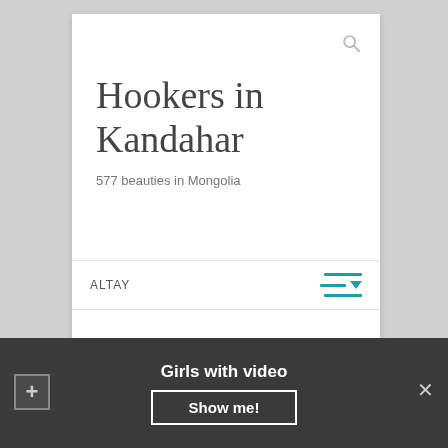Hookers in Kandahar
577 beauties in Mongolia
ALTAY
Adult search in Altay
Girls with video
Show me!